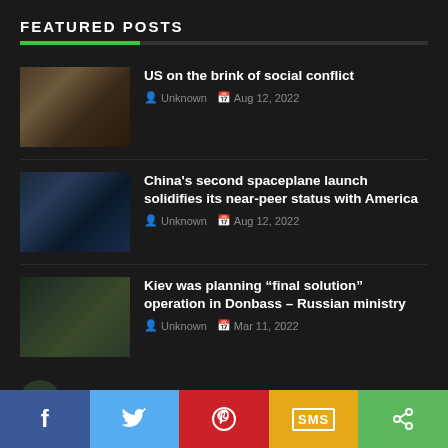FEATURED POSTS
US on the brink of social conflict | Unknown | Aug 12, 2022
China's second spaceplane launch solidifies its near-peer status with America | Unknown | Aug 12, 2022
Kiev was planning “final solution” operation in Donbass – Russian ministry | Unknown | Mar 11, 2022
Russia reports existence of US military...